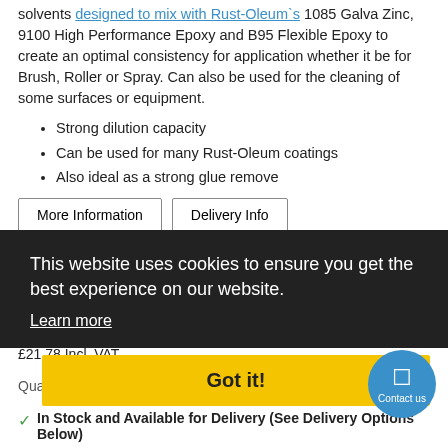solvents designed to mix with Rust-Oleum`s 1085 Galva Zinc, 9100 High Performance Epoxy and B95 Flexible Epoxy to create an optimal consistency for application whether it be for Brush, Roller or Spray. Can also be used for the cleaning of some surfaces or equipment.
Strong dilution capacity
Can be used for many Rust-Oleum coatings
Also ideal as a strong glue remove
More Information | Delivery Info
Size
1L
£18.95 excl. VAT
£21.78 Incl. VAT
Quantity 1 Add to Basket
✓ In Stock and Available for Delivery (See Delivery Options Below)
This website uses cookies to ensure you get the best experience on our website. Learn more
Got it!